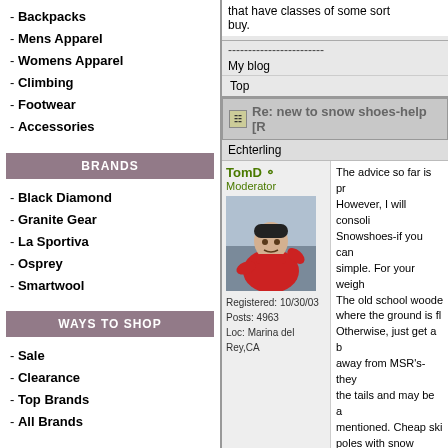- Backpacks
- Mens Apparel
- Womens Apparel
- Climbing
- Footwear
- Accessories
BRANDS
- Black Diamond
- Granite Gear
- La Sportiva
- Osprey
- Smartwool
WAYS TO SHOP
- Sale
- Clearance
- Top Brands
- All Brands
Backpacking Equipment
that have classes of some sort buy.
------------------------
My blog
Top
Re: new to snow shoes-help [R
Echterling
TomD
Moderator
Registered: 10/30/03
Posts: 4963
Loc: Marina del Rey,CA
The advice so far is pr However, I will consoli Snowshoes-if you can simple. For your weigh The old school woode where the ground is fl Otherwise, just get a b away from MSR's-they the tails and may be a mentioned. Cheap ski poles with snow baske
Rent, then buy. You ma knows. Used snowsho Craigslist. As long as t wrong with them.
Skis- higher learning c